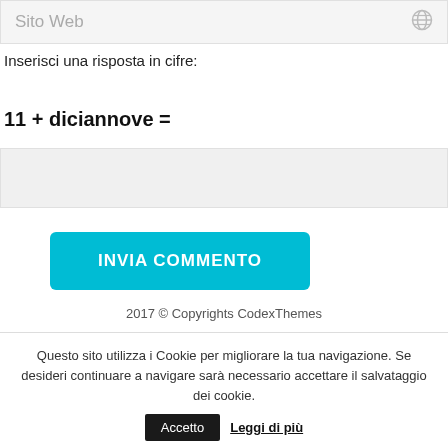Sito Web
Inserisci una risposta in cifre:
INVIA COMMENTO
2017 © Copyrights CodexThemes
Questo sito utilizza i Cookie per migliorare la tua navigazione. Se desideri continuare a navigare sarà necessario accettare il salvataggio dei cookie.
Accetto
Leggi di più